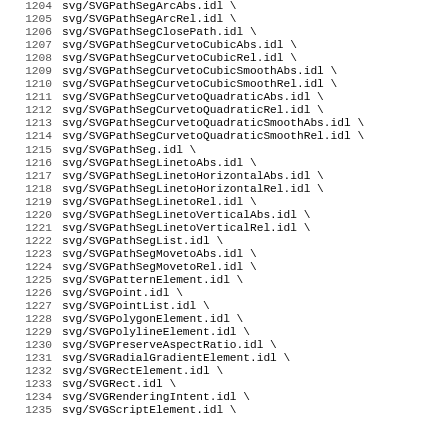1204    svg/SVGPathSegArcAbs.idl \
1205    svg/SVGPathSegArcRel.idl \
1206    svg/SVGPathSegClosePath.idl \
1207    svg/SVGPathSegCurvetoCubicAbs.idl \
1208    svg/SVGPathSegCurvetoCubicRel.idl \
1209    svg/SVGPathSegCurvetoCubicSmoothAbs.idl \
1210    svg/SVGPathSegCurvetoCubicSmoothRel.idl \
1211    svg/SVGPathSegCurvetoQuadraticAbs.idl \
1212    svg/SVGPathSegCurvetoQuadraticRel.idl \
1213    svg/SVGPathSegCurvetoQuadraticSmoothAbs.idl \
1214    svg/SVGPathSegCurvetoQuadraticSmoothRel.idl \
1215    svg/SVGPathSeg.idl \
1216    svg/SVGPathSegLinetoAbs.idl \
1217    svg/SVGPathSegLinetoHorizontalAbs.idl \
1218    svg/SVGPathSegLinetoHorizontalRel.idl \
1219    svg/SVGPathSegLinetoRel.idl \
1220    svg/SVGPathSegLinetoVerticalAbs.idl \
1221    svg/SVGPathSegLinetoVerticalRel.idl \
1222    svg/SVGPathSegList.idl \
1223    svg/SVGPathSegMovetoAbs.idl \
1224    svg/SVGPathSegMovetoRel.idl \
1225    svg/SVGPatternElement.idl \
1226    svg/SVGPoint.idl \
1227    svg/SVGPointList.idl \
1228    svg/SVGPolygonElement.idl \
1229    svg/SVGPolylineElement.idl \
1230    svg/SVGPreserveAspectRatio.idl \
1231    svg/SVGRadialGradientElement.idl \
1232    svg/SVGRectElement.idl \
1233    svg/SVGRect.idl \
1234    svg/SVGRenderingIntent.idl \
1235    svg/SVGScriptElement.idl \